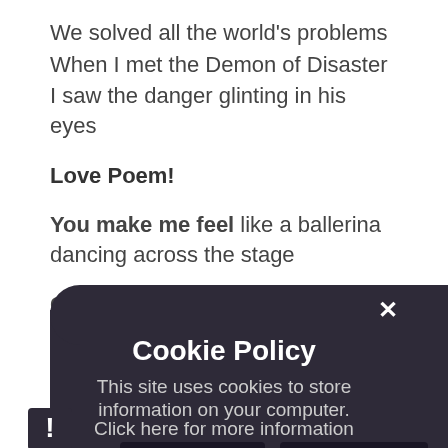We solved all the world's problems
When I met the Demon of Disaster
I saw the danger glinting in his eyes
Love Poem!
You make me feel like a ballerina dancing across the stage
Compliments – Your ears/hair/eyes/cheeks are like....
Without
Too
You m
[Figure (screenshot): Cookie Policy popup overlay with dark rounded background showing title 'Cookie Policy', body text 'This site uses cookies to store information on your computer. Click here for more information', and two buttons: 'Allow Cookies' and 'Deny Cookies'. A close X button is in the top right of the popup.]
! (warning icon bottom left)